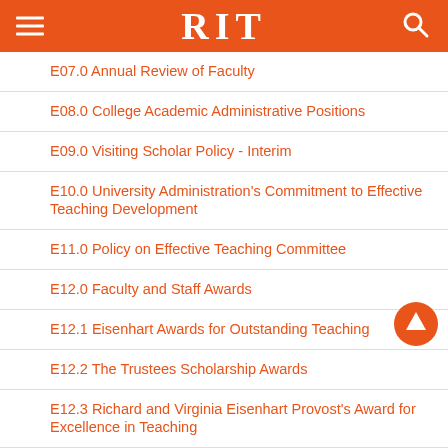RIT
E07.0 Annual Review of Faculty
E08.0 College Academic Administrative Positions
E09.0 Visiting Scholar Policy - Interim
E10.0 University Administration's Commitment to Effective Teaching Development
E11.0 Policy on Effective Teaching Committee
E12.0 Faculty and Staff Awards
E12.1 Eisenhart Awards for Outstanding Teaching
E12.2 The Trustees Scholarship Awards
E12.3 Richard and Virginia Eisenhart Provost's Award for Excellence in Teaching